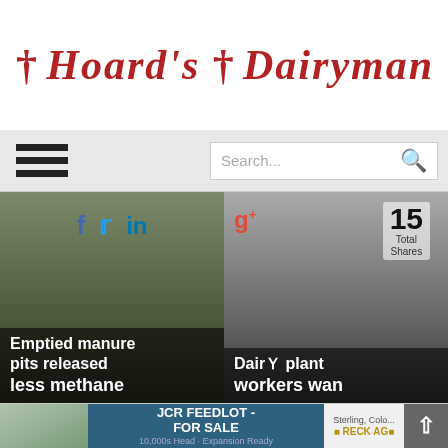[Figure (logo): Hoard's Dairyman magazine logo in red serif gothic font]
[Figure (screenshot): Navigation bar with hamburger menu and search box]
[Figure (screenshot): Two article card thumbnails with social sharing icons overlay. Left card: 'Emptied manure pits released less methane'. Right card: 'Dairy plant workers wan...' with 15 Total Shares counter]
[Figure (screenshot): Comments section with tabs: Comments, Community, lock icon, notification badge 1, Login button. Favorite and Sort by Best options. Start the discussion text box.]
[Figure (screenshot): Footer ad banner: JCR FEEDLOT - FOR SALE, 10,000s Head - Expansion Ready, Reck Ag branding, Sterling Colorado. Scroll-to-top button.]